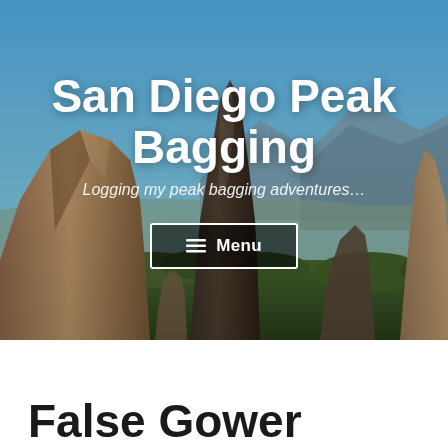[Figure (photo): Hero banner photo showing rocky peaks and boulders against a blue sky with mountains in the background. Overlaid with site title 'San Diego Peak Bagging', tagline 'Logging my peak bagging adventures...', and a menu button.]
San Diego Peak Bagging
Logging my peak bagging adventures...
False Gower